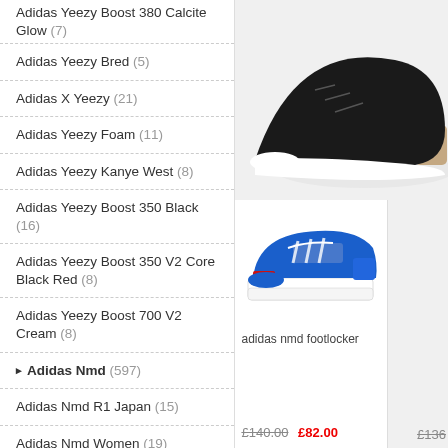Adidas Yeezy Boost 380 Calcite Glow (7)
Adidas Yeezy Bred (5)
Adidas X Yeezy (21)
Adidas Yeezy Foam (11)
Adidas Yeezy Kanye West (8)
Adidas Yeezy Boost 350 Black (16)
Adidas Yeezy Boost 350 V2 Core Black Red (8)
Adidas Yeezy Boost 700 V2 Cream (8)
Adidas Nmd (597)
Adidas Nmd R1 Japan (15)
Adidas Nmd Women (19)
Adidas Nmd Kids (23)
Adidas Nmd Shoes (19)
Adidas Pharrell Williams Nmd (19)
Adidas Nmd Pink (21)
[Figure (photo): Partial view of a sneaker (black/white/tan), top-right of page]
[Figure (photo): Adidas NMD XR1 sneaker in blue/white/red colorway]
adidas nmd footlocker
£140.00  £82.00
£136...